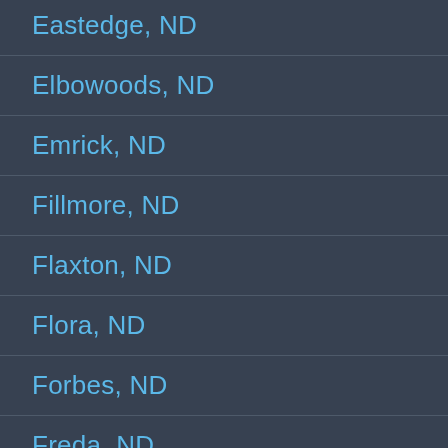Eastedge, ND
Elbowoods, ND
Emrick, ND
Fillmore, ND
Flaxton, ND
Flora, ND
Forbes, ND
Freda, ND
Fredonia, ND
Gascoyne, ND